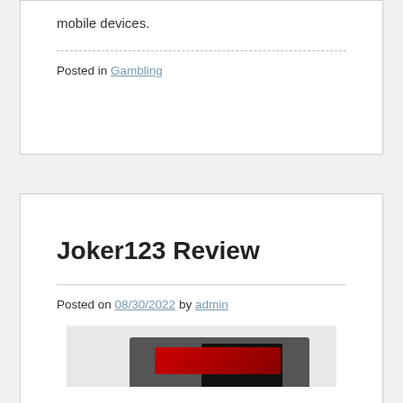mobile devices.
Posted in Gambling
Joker123 Review
Posted on 08/30/2022 by admin
[Figure (photo): Image showing mobile devices with a gaming interface]